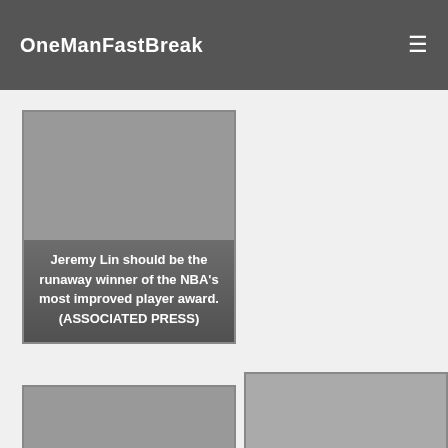OneManFastBreak
[Figure (photo): Photo card with caption: Jeremy Lin should be the runaway winner of the NBA's most improved player award. (ASSOCIATED PRESS)]
[Figure (photo): Photo card with caption: LeBron James is on pace to capture his third regular season MVP award. (ASSOCIATED PRESS)]
[Figure (photo): Photo card with caption: Monta Ellis of the Golden State Warriors (left) and Brandon Jennings of the Milwaukee Bucks deserve All-Star nods. (GETTY IMAGES)]